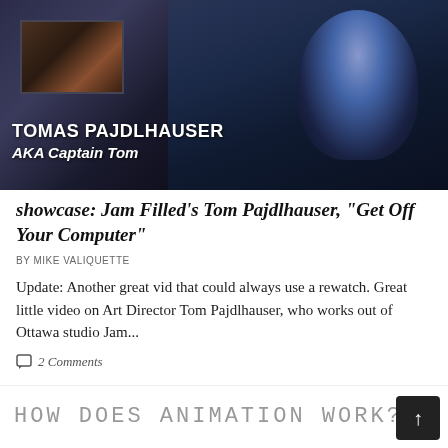[Figure (photo): Photo of Tomas Pajdlhauser (AKA Captain Tom) sitting in front of a computer monitor in a studio, overlaid with text identifying him]
showcase: Jam Filled's Tom Pajdlhauser, “Get Off Your Computer”
BY MIKE VALIQUETTE
Update: Another great vid that could always use a rewatch. Great little video on Art Director Tom Pajdlhauser, who works out of Ottawa studio Jam...
2 Comments
[Figure (screenshot): Partial preview of next article with text 'HOW DOES ANIMATION WORK?' in a hand-drawn style font]